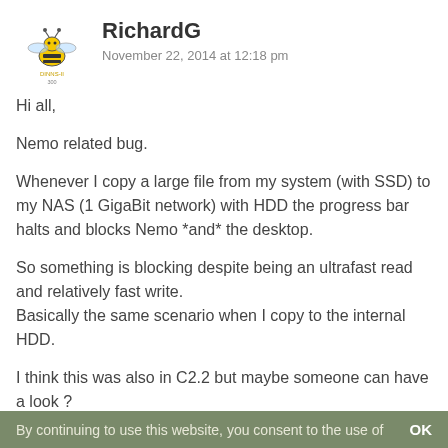[Figure (illustration): Yellow bee avatar icon with text below it]
RichardG
November 22, 2014 at 12:18 pm
Hi all,
Nemo related bug.
Whenever I copy a large file from my system (with SSD) to my NAS (1 GigaBit network) with HDD the progress bar halts and blocks Nemo *and* the desktop.
So something is blocking despite being an ultrafast read and relatively fast write.
Basically the same scenario when I copy to the internal HDD.
I think this was also in C2.2 but maybe someone can have a look ?
By continuing to use this website, you consent to the use of   OK